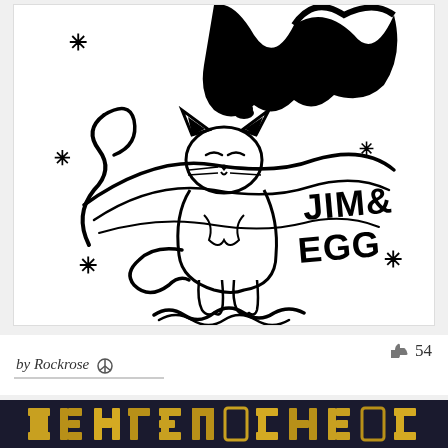[Figure (illustration): Black and white line art illustration of a cat (with closed/squinting eyes) standing in front of a planet/Saturn-like ring system with stars/asterisks scattered around, large dark hair/palm-tree shapes at top, and text 'JIM & EGG' in bold lettering on the right side. Small folded corner visible at top-left.]
by Rockrose ☮  54
[Figure (photo): Partial view of another image at the bottom showing text/logo in yellow/gold tones on a dark background, partially cropped.]